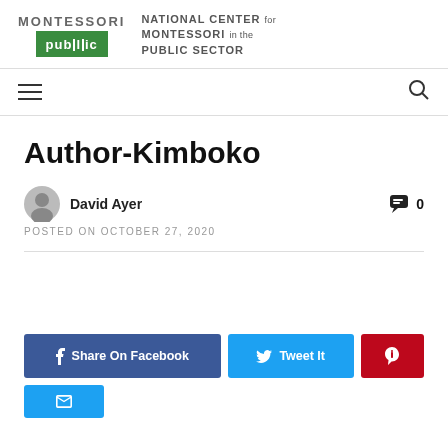[Figure (logo): Montessori Public logo with green box and text 'NATIONAL CENTER for MONTESSORI in the PUBLIC SECTOR']
Author-Kimboko
Author-Kimboko
David Ayer   0
POSTED ON OCTOBER 27, 2020
Share On Facebook   Tweet It   [Pinterest]